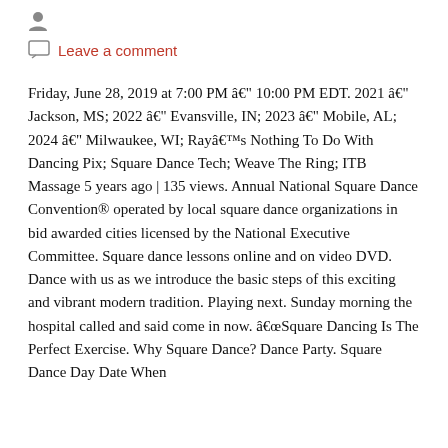[Figure (other): User avatar icon (person silhouette)]
Leave a comment
Friday, June 28, 2019 at 7:00 PM â 10:00 PM EDT. 2021 â Jackson, MS; 2022 â Evansville, IN; 2023 â Mobile, AL; 2024 â Milwaukee, WI; Rayâs Nothing To Do With Dancing Pix; Square Dance Tech; Weave The Ring; ITB Massage 5 years ago | 135 views. Annual National Square Dance Convention® operated by local square dance organizations in bid awarded cities licensed by the National Executive Committee. Square dance lessons online and on video DVD. Dance with us as we introduce the basic steps of this exciting and vibrant modern tradition. Playing next. Sunday morning the hospital called and said come in now. âSquare Dancing Is The Perfect Exercise. Why Square Dance? Dance Party. Square Dance Day Date When Celebrated: November